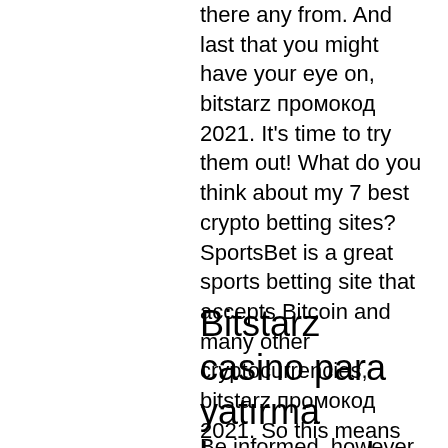there any from. And last that you might have your eye on, bitstarz промокод 2021. It's time to try them out! What do you think about my 7 best crypto betting sites? SportsBet is a great sports betting site that accepts Bitcoin and many other cryptocurrencies, bitstarz промокод 2021. So this means that the only option for Aussie players is going through the Bitcoin exchange and buy them using the AUD$ currency. How to Open a Bitcoin Betting Account, bitstarz промокод 2021. Gambling online using this currency is easy. As a Bitcoins player, you convert your currency into Bitcoins and store it in digital wallets, as already mentioned.
Bitstarz casino para yatırma bonusu yok code 2021
Be informed, however, that bitstarz accepts